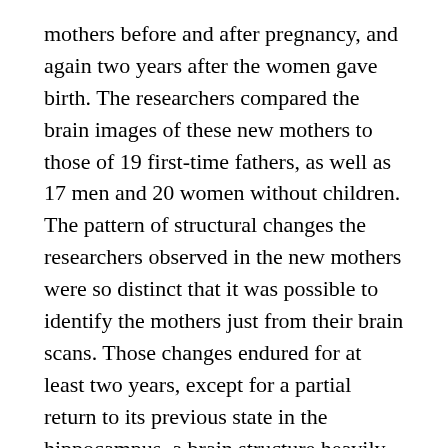mothers before and after pregnancy, and again two years after the women gave birth. The researchers compared the brain images of these new mothers to those of 19 first-time fathers, as well as 17 men and 20 women without children. The pattern of structural changes the researchers observed in the new mothers were so distinct that it was possible to identify the mothers just from their brain scans. Those changes endured for at least two years, except for a partial return to its previous state in the hippocampus, a brain structure heavily involved with memory.
The MRI study showed changes in gray matter, the outer layer of the brain that contains the cell bodies of neurons. The gray matter in certain areas shrunk